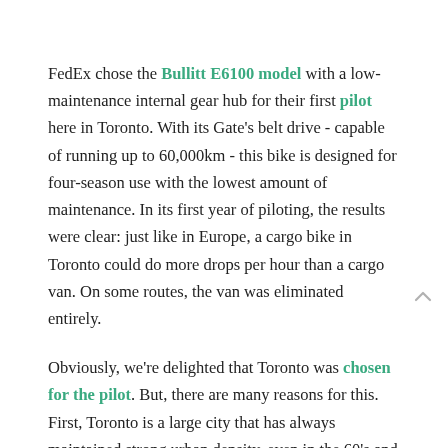FedEx chose the Bullitt E6100 model with a low-maintenance internal gear hub for their first pilot here in Toronto. With its Gate's belt drive - capable of running up to 60,000km - this bike is designed for four-season use with the lowest amount of maintenance. In its first year of piloting, the results were clear: just like in Europe, a cargo bike in Toronto could do more drops per hour than a cargo van. On some routes, the van was eliminated entirely.
Obviously, we're delighted that Toronto was chosen for the pilot. But, there are many reasons for this. First, Toronto is a large city that has always maintained strong urban density, even in the 60's and 70's when suburbanization was the trend. Second, Toronto has always had a strong cycling community that has